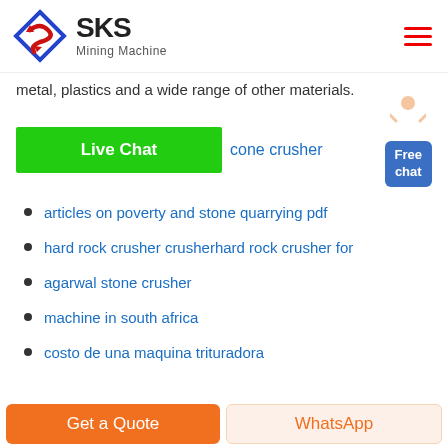SKS Mining Machine
metal, plastics and a wide range of other materials.
Live Chat   cone crusher
articles on poverty and stone quarrying pdf
hard rock crusher crusherhard rock crusher for
agarwal stone crusher
machine in south africa
costo de una maquina trituradora
Get a Quote   WhatsApp